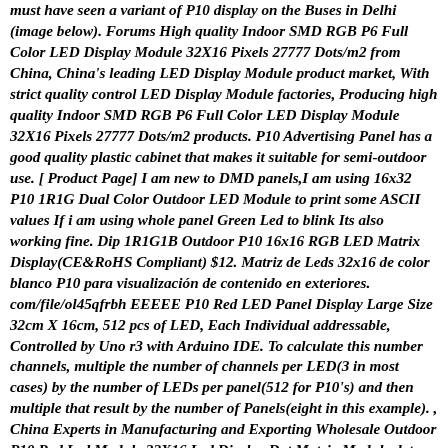must have seen a variant of P10 display on the Buses in Delhi (image below). Forums High quality Indoor SMD RGB P6 Full Color LED Display Module 32X16 Pixels 27777 Dots/m2 from China, China's leading LED Display Module product market, With strict quality control LED Display Module factories, Producing high quality Indoor SMD RGB P6 Full Color LED Display Module 32X16 Pixels 27777 Dots/m2 products. P10 Advertising Panel has a good quality plastic cabinet that makes it suitable for semi-outdoor use. [ Product Page] I am new to DMD panels,I am using 16x32 P10 1R1G Dual Color Outdoor LED Module to print some ASCII values If i am using whole panel Green Led to blink Its also working fine. Dip 1R1G1B Outdoor P10 16x16 RGB LED Matrix Display(CE&RoHS Compliant) $12. Matriz de Leds 32x16 de color blanco P10 para visualización de contenido en exteriores. com/file/ol45qfrbh EEEEE P10 Red LED Panel Display Large Size 32cm X 16cm, 512 pcs of LED, Each Individual addressable, Controlled by Uno r3 with Arduino IDE. To calculate this number channels, multiple the number of channels per LED(3 in most cases) by the number of LEDs per panel(512 for P10's) and then multiple that result by the number of Panels(eight in this example). , China Experts in Manufacturing and Exporting Wholesale Outdoor P10 Red Led Module 32X16 Led Display Dot Matrix Module dot-matrix-display-using-arduino-engineersgarage 2/7 Downloaded from smtp16. ) $ 20. High way IP65 SMD3535 8000CD/㎡ high